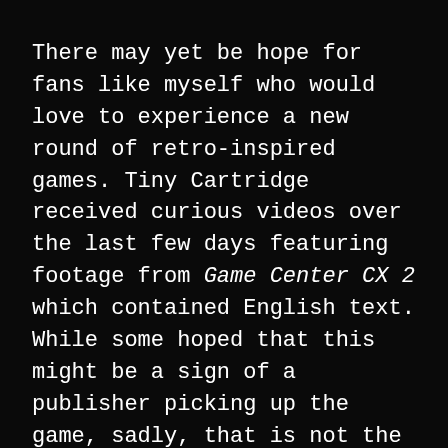There may yet be hope for fans like myself who would love to experience a new round of retro-inspired games. Tiny Cartridge received curious videos over the last few days featuring footage from Game Center CX 2 which contained English text. While some hoped that this might be a sign of a publisher picking up the game, sadly, that is not the case.